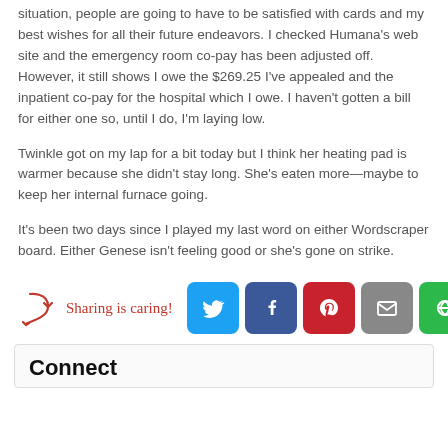situation, people are going to have to be satisfied with cards and my best wishes for all their future endeavors. I checked Humana's web site and the emergency room co-pay has been adjusted off. However, it still shows I owe the $269.25 I've appealed and the inpatient co-pay for the hospital which I owe. I haven't gotten a bill for either one so, until I do, I'm laying low.
Twinkle got on my lap for a bit today but I think her heating pad is warmer because she didn't stay long. She's eaten more—maybe to keep her internal furnace going.
It's been two days since I played my last word on either Wordscraper board. Either Genese isn't feeling good or she's gone on strike.
[Figure (infographic): Sharing is caring! text with a red arrow and social media share buttons: Twitter (blue bird), Facebook (blue f), Pinterest (red p), Email (gray envelope), More (green circular arrows)]
Connect